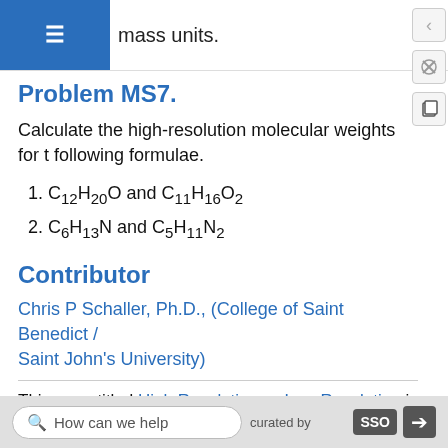mass units.
Problem MS7.
Calculate the high-resolution molecular weights for the following formulae.
1. C12H20O and C11H16O2
2. C6H13N and C5H11N2
Contributor
Chris P Schaller, Ph.D., (College of Saint Benedict / Saint John's University)
This page titled High Resolution vs Low Resolution is shared under a not declared license and was
How can we help    curated by